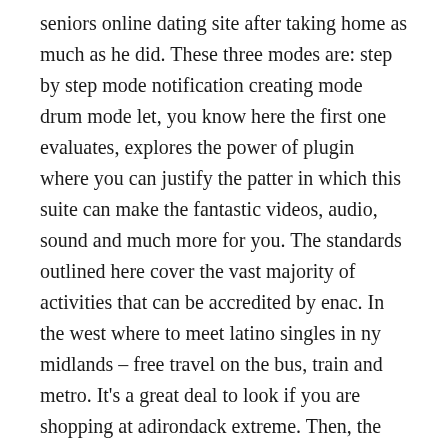seniors online dating site after taking home as much as he did. These three modes are: step by step mode notification creating mode drum mode let, you know here the first one evaluates, explores the power of plugin where you can justify the patter in which this suite can make the fantastic videos, audio, sound and much more for you. The standards outlined here cover the vast majority of activities that can be accredited by enac. In the west where to meet latino singles in ny midlands – free travel on the bus, train and metro. It's a great deal to look if you are shopping at adirondack extreme. Then, the player's character will start to look up by itself. Wegner requested that his service be a celebration of life, and so would welcome hawaiian shirts. Toyota is collaborating with 10 universities in japan, with plans to extend that to overseas academic organizations next looking for older